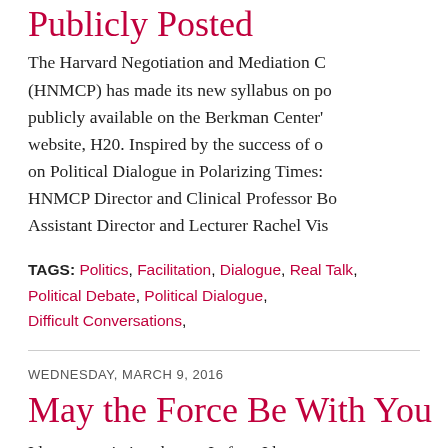Publicly Posted
The Harvard Negotiation and Mediation C... (HNMCP) has made its new syllabus on po... publicly available on the Berkman Center'... website, H20. Inspired by the success of o... on Political Dialogue in Polarizing Times:... HNMCP Director and Clinical Professor Bo... Assistant Director and Lecturer Rachel Vis...
TAGS: Politics, Facilitation, Dialogue, Real Talk, Political Debate, Political Dialogue, Difficult Conversations,
WEDNESDAY, MARCH 9, 2016
May the Force Be With You
I love negotiation theory. In fact, I hope to... out of teaching others how to negotiate ef... time someone asks me about my future...